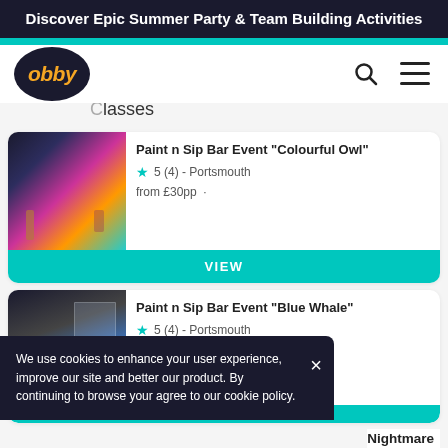Discover Epic Summer Party & Team Building Activities
[Figure (logo): Obby logo - dark oval with orange italic 'obby' text]
Classes
Paint n Sip Bar Event "Colourful Owl"
5 (4) - Portsmouth
from £30pp  ·
VIEW
Paint n Sip Bar Event "Blue Whale"
5 (4) - Portsmouth
from £30pp
We use cookies to enhance your user experience, improve our site and better our product. By continuing to browse your agree to our cookie policy.
Nightmare